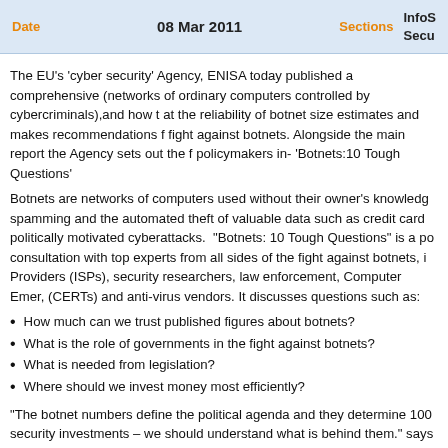Date  08 Mar 2011  Sections  InfoS Secu
The EU’s ‘cyber security’ Agency, ENISA today published a comprehensive (networks of ordinary computers controlled by cybercriminals),and how t at the reliability of botnet size estimates and makes recommendations f fight against botnets. Alongside the main report the Agency sets out the f policymakers in- ‘Botnets:10 Tough Questions’
Botnets are networks of computers used without their owner’s knowledg spamming and the automated theft of valuable data such as credit card politically motivated cyberattacks. “Botnets: 10 Tough Questions” is a po consultation with top experts from all sides of the fight against botnets, i Providers (ISPs), security researchers, law enforcement, Computer Emer, (CERTs) and anti-virus vendors. It discusses questions such as:
How much can we trust published figures about botnets?
What is the role of governments in the fight against botnets?
What is needed from legislation?
Where should we invest money most efficiently?
“The botnet numbers define the political agenda and they determine 100 security investments – we should understand what is behind them.” says Editor. Yet, the report concludes that many botnet figures are likely to be numbers of bots can cause severe damage. “Size is not everything, th